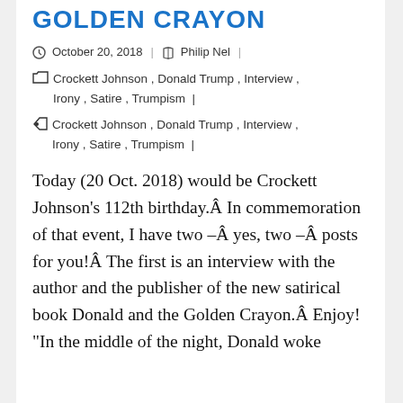GOLDEN CRAYON
October 20, 2018  |  Philip Nel  |
Crockett Johnson, Donald Trump, Interview, Irony, Satire, Trumpism  |
Crockett Johnson, Donald Trump, Interview, Irony, Satire, Trumpism  |
Today (20 Oct. 2018) would be Crockett Johnson’s 112th birthday.Â In commemoration of that event, I have two –Â yes, two –Â posts for you!Â  The first is an interview with the author and the publisher of the new satirical book Donald and the Golden Crayon.Â  Enjoy! “In the middle of the night, Donald woke